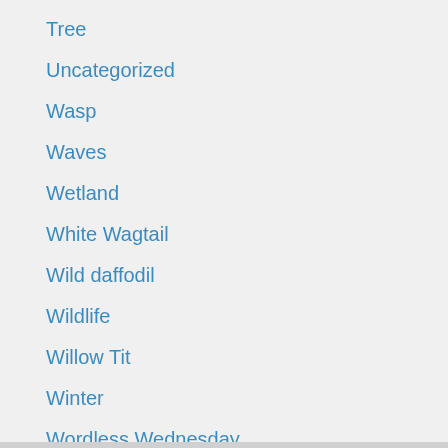Tree
Uncategorized
Wasp
Waves
Wetland
White Wagtail
Wild daffodil
Wildlife
Willow Tit
Winter
Wordless Wednesday
Yellow Loosestrife